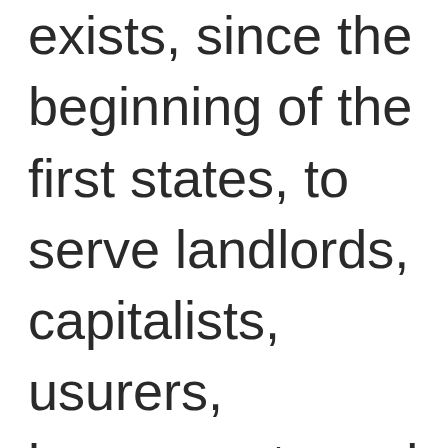exists, since the beginning of the first states, to serve landlords, capitalists, usurers, bureaucrats and